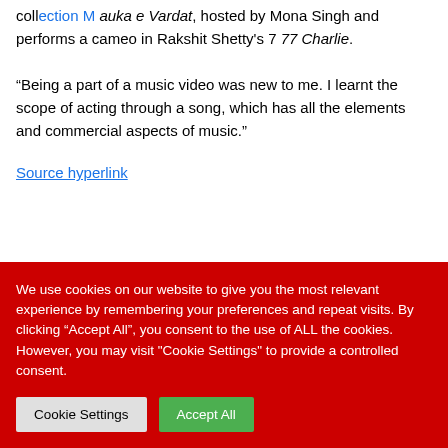collection Mauka e Vardat, hosted by Mona Singh and performs a cameo in Rakshit Shetty's 7 77 Charlie.
“Being a part of a music video was new to me. I learnt the scope of acting through a song, which has all the elements and commercial aspects of music.”
Source hyperlink
We use cookies on our website to give you the most relevant experience by remembering your preferences and repeat visits. By clicking “Accept All”, you consent to the use of ALL the cookies. However, you may visit "Cookie Settings" to provide a controlled consent.